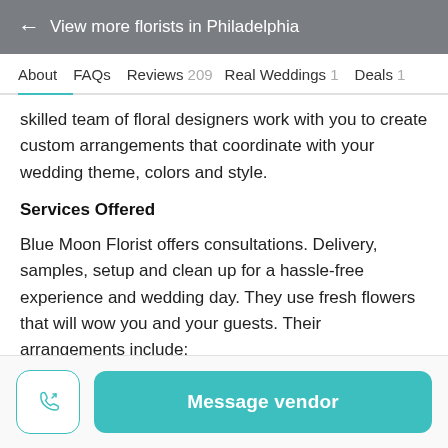← View more florists in Philadelphia
About   FAQs   Reviews 209   Real Weddings 1   Deals 1
skilled team of floral designers work with you to create custom arrangements that coordinate with your wedding theme, colors and style.
Services Offered
Blue Moon Florist offers consultations. Delivery, samples, setup and clean up for a hassle-free experience and wedding day. They use fresh flowers that will wow you and your guests. Their arrangements include:
Aisle decor
Message vendor